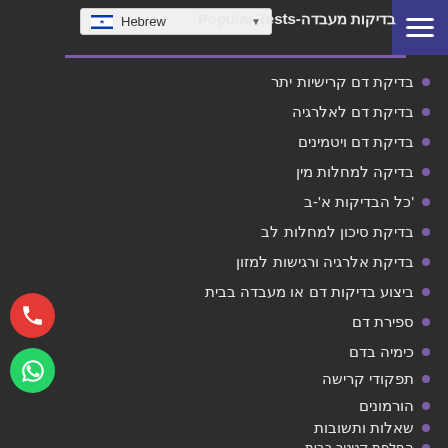Hebrew - language selector dropdown
בדיקות מעבדה-Popular Tests
בדיקת דם קרישיות יתר
בדיקת דם לאלרגיה
בדיקת דם ויטמינים
בדיקה למחלות מין
כל הבדיקות א'-ב'
בדיקת סיכון למחלות לב
בדיקת אלרגיה ורגישות למזון
ביצוע בדיקות דם או מעבדה בבית
ספירת דם
כימיה בדם
תפקודי קרישה
הורמונים
שאלות ותשובות
החלפת קטטר בבית